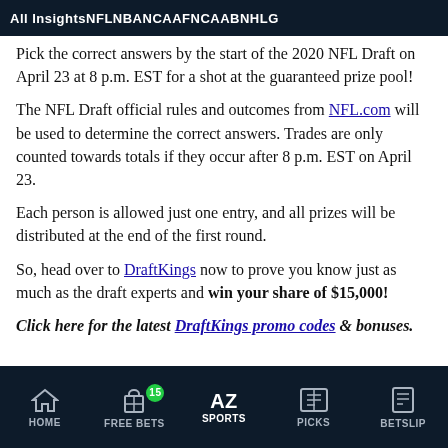All Insights  NFL  NBA  NCAAF  NCAAB  NHL  G
Pick the correct answers by the start of the 2020 NFL Draft on April 23 at 8 p.m. EST for a shot at the guaranteed prize pool!
The NFL Draft official rules and outcomes from NFL.com will be used to determine the correct answers. Trades are only counted towards totals if they occur after 8 p.m. EST on April 23.
Each person is allowed just one entry, and all prizes will be distributed at the end of the first round.
So, head over to DraftKings now to prove you know just as much as the draft experts and win your share of $15,000!
Click here for the latest DraftKings promo codes & bonuses.
HOME  FREE BETS (15)  SPORTS  PICKS  BETSLIP